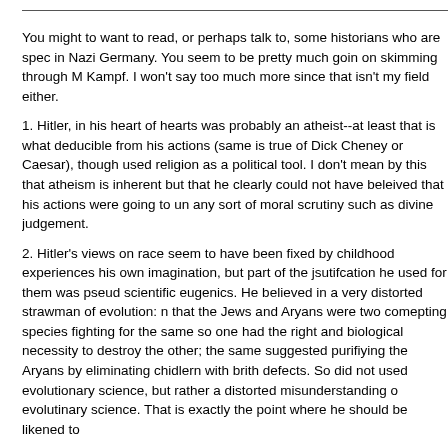You might to want to read, or perhaps talk to, some historians who are spec in Nazi Germany. You seem to be pretty much goin on skimming through M Kampf. I won't say too much more since that isn't my field either.
1. Hitler, in his heart of hearts was probably an atheist--at least that is what deducible from his actions (same is true of Dick Cheney or Caesar), though used religion as a political tool. I don't mean by this that atheism is inherent but that he clearly could not have beleived that his actions were going to un any sort of moral scrutiny such as divine judgement.
2. Hitler's views on race seem to have been fixed by childhood experiences his own imagination, but part of the jsutifcation he used for them was pseud scientific eugenics. He believed in a very distorted strawman of evolution: n that the Jews and Aryans were two comepting species fighting for the same so one had the right and biological necessity to destroy the other; the same suggested purifiying the Aryans by eliminating chidlern with brith defects. So did not used evolutionary science, but rather a distorted misunderstanding o evolutinary science. That is exactly the point where he should be likened to
3. Much of the pseudoscience that Hitler and the Nazis beleived was propag by Ernst Haeckel's [i] Riddle of the Universe[/i] not directly by reading Darwi that is the book you should look to to uderstand the Nazi misuse of evolutio science.